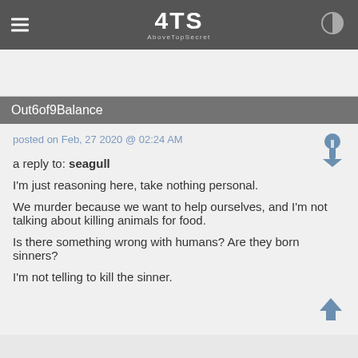4TS AboveTopSecret
Out6of9Balance
posted on Feb, 27 2020 @ 02:24 AM
a reply to: seagull
I'm just reasoning here, take nothing personal.
We murder because we want to help ourselves, and I'm not talking about killing animals for food.
Is there something wrong with humans? Are they born sinners?
I'm not telling to kill the sinner.